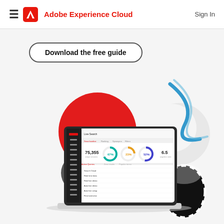Adobe Experience Cloud  Sign In
Download the free guide
[Figure (screenshot): Adobe Experience Cloud Live Search dashboard screenshot shown on a laptop mockup, surrounded by decorative graphic elements: a large red circle, a dark grey circle, a white 3D sphere, a black-and-white striped cone/spiral, and a blue swoosh/ribbon graphic.]